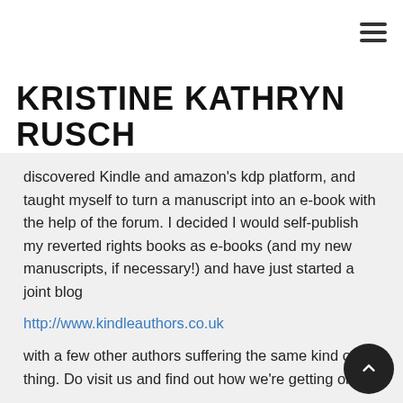KRISTINE KATHRYN RUSCH
discovered Kindle and amazon's kdp platform, and taught myself to turn a manuscript into an e-book with the help of the forum. I decided I would self-publish my reverted rights books as e-books (and my new manuscripts, if necessary!) and have just started a joint blog http://www.kindleauthors.co.uk with a few other authors suffering the same kind of thing. Do visit us and find out how we're getting on!
The main thing is I am having FUN again, and achieving even tiny sales all on my own feels good. Also, that fun